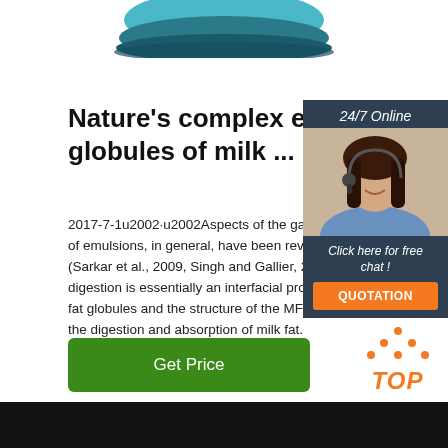[Figure (photo): Teal/blue rounded egg-shaped object at top center of page]
Nature's complex emulsion: globules of milk ...
2017-7-1u2002·u2002Aspects of the gastrointestinal of emulsions, in general, have been reviewed elsewhere (Sarkar et al., 2009, Singh and Gallier, 2014). As digestion is essentially an interfacial process, the fat globules and the structure of the MFGM play the digestion and absorption of milk fat.
[Figure (photo): Online chat advertisement with woman wearing headset, dark navy background, '24/7 Online' header, 'Click here for free chat!' caption, and orange QUOTATION button]
[Figure (other): Green 'Get Price' button]
[Figure (logo): Orange TOP icon with triangular dots above the text at bottom right]
[Figure (photo): Dark/black banner at bottom of page]